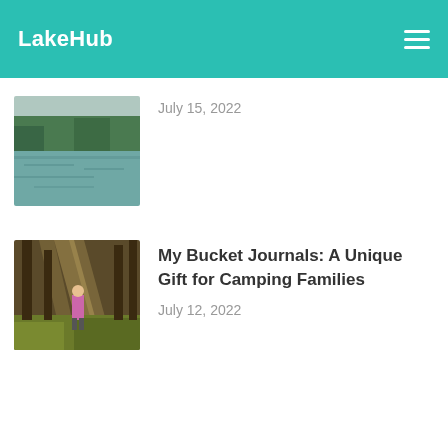LakeHub
[Figure (photo): Lake scene with trees reflected in calm water]
July 15, 2022
[Figure (photo): Person walking on a forest path with sunlight streaming through trees, autumn leaves on the ground]
My Bucket Journals: A Unique Gift for Camping Families
July 12, 2022